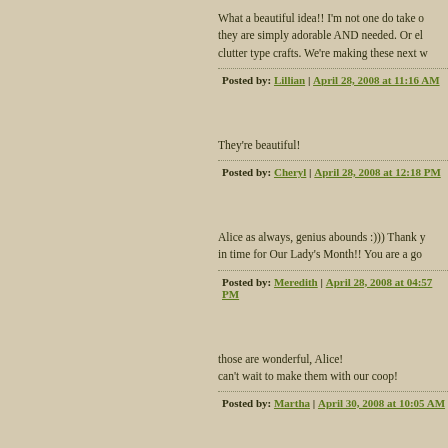What a beautiful idea!! I'm not one do take o... they are simply adorable AND needed. Or el... clutter type crafts. We're making these next w...
Posted by: Lillian | April 28, 2008 at 11:16 AM
They're beautiful!
Posted by: Cheryl | April 28, 2008 at 12:18 PM
Alice as always, genius abounds :))) Thank y... in time for Our Lady's Month!! You are a go...
Posted by: Meredith | April 28, 2008 at 04:57 PM
those are wonderful, Alice!
can't wait to make them with our coop!
Posted by: Martha | April 30, 2008 at 10:05 AM
I think it is so great that these kids are doing...